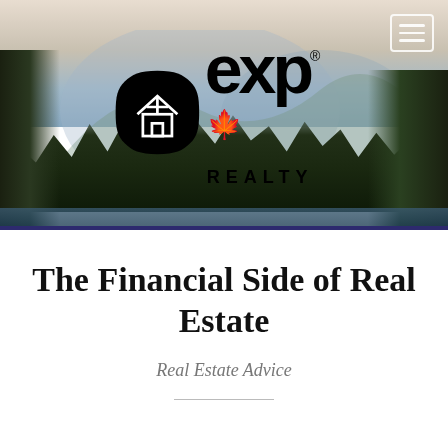[Figure (photo): eXp Realty hero banner with a scenic mountain/forest landscape background and the eXp Realty logo centered on the image. A hamburger menu icon is in the top-right corner. A dark blue/purple horizontal divider runs across the bottom of the image.]
The Financial Side of Real Estate
Real Estate Advice